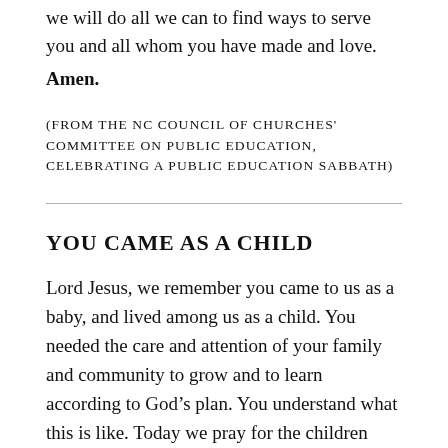we will do all we can to find ways to serve you and all whom you have made and love.
Amen.
(FROM THE NC COUNCIL OF CHURCHES' COMMITTEE ON PUBLIC EDUCATION, CELEBRATING A PUBLIC EDUCATION SABBATH)
YOU CAME AS A CHILD
Lord Jesus, we remember you came to us as a baby, and lived among us as a child. You needed the care and attention of your family and community to grow and to learn according to God’s plan. You understand what this is like. Today we pray for the children who have the task of growing and learning